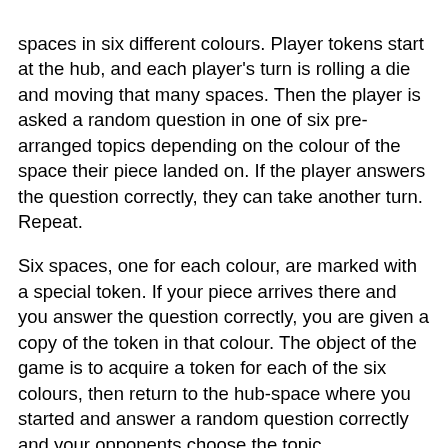spaces in six different colours. Player tokens start at the hub, and each player's turn is rolling a die and moving that many spaces. Then the player is asked a random question in one of six pre-arranged topics depending on the colour of the space their piece landed on. If the player answers the question correctly, they can take another turn. Repeat.
Six spaces, one for each colour, are marked with a special token. If your piece arrives there and you answer the question correctly, you are given a copy of the token in that colour. The object of the game is to acquire a token for each of the six colours, then return to the hub-space where you started and answer a random question correctly and your opponents choose the topic.
This game rewards you for accumulating knowledge that is not applied, and often not applicable, i.e. filling your brain with useless crap. Thus: "trivial." Duh.
You can't get better at the game by playing it more often. You can't get better at the game by studying hard in school. Your